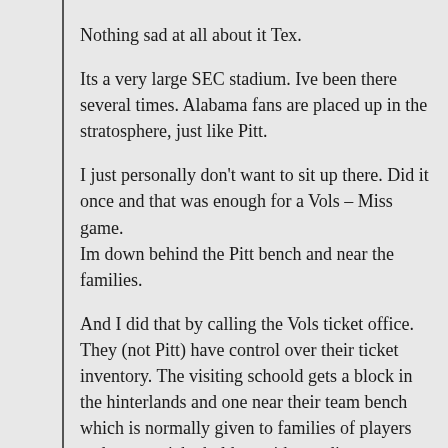Nothing sad at all about it Tex.
Its a very large SEC stadium. Ive been there several times. Alabama fans are placed up in the stratosphere, just like Pitt.
I just personally don't want to sit up there. Did it once and that was enough for a Vols – Miss game.
Im down behind the Pitt bench and near the families.
And I did that by calling the Vols ticket office. They (not Pitt) have control over their ticket inventory. The visiting schoold gets a block in the hinterlands and one near their team bench which is normally given to families of players and season ticketholders with standing…